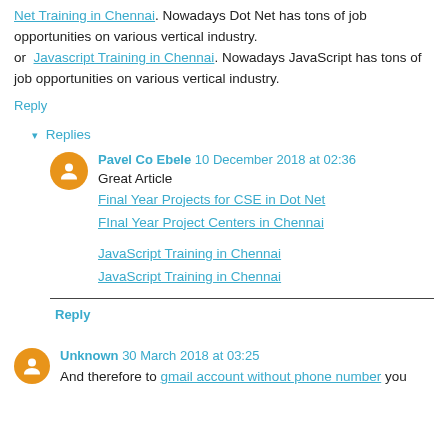Net Training in Chennai. Nowadays Dot Net has tons of job opportunities on various vertical industry.
or Javascript Training in Chennai. Nowadays JavaScript has tons of job opportunities on various vertical industry.
Reply
▾ Replies
Pavel Co Ebele 10 December 2018 at 02:36
Great Article
Final Year Projects for CSE in Dot Net
FInal Year Project Centers in Chennai
JavaScript Training in Chennai
JavaScript Training in Chennai
Reply
Unknown 30 March 2018 at 03:25
And therefore to gmail account without phone number you